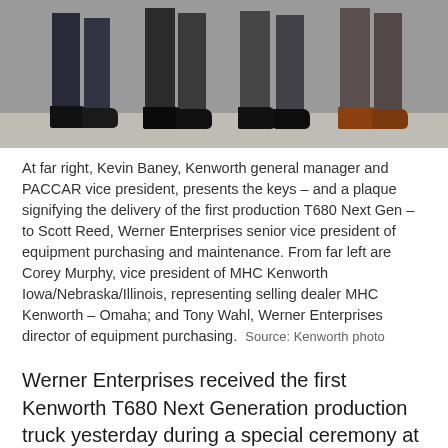[Figure (photo): Cropped photo showing the lower bodies and legs of several people standing, visible from approximately the waist down. People are wearing dark business attire with dress shoes; one person on the far right appears to be wearing brown/tan shoes.]
At far right, Kevin Baney, Kenworth general manager and PACCAR vice president, presents the keys – and a plaque signifying the delivery of the first production T680 Next Gen – to Scott Reed, Werner Enterprises senior vice president of equipment purchasing and maintenance. From far left are Corey Murphy, vice president of MHC Kenworth Iowa/Nebraska/Illinois, representing selling dealer MHC Kenworth – Omaha; and Tony Wahl, Werner Enterprises director of equipment purchasing.  Source: Kenworth photo
Werner Enterprises received the first Kenworth T680 Next Generation production truck yesterday during a special ceremony at the Kenworth manufacturing plant in Chillicothe, Ohio.
Kenworth's T680 Next Gen on-highway flagship